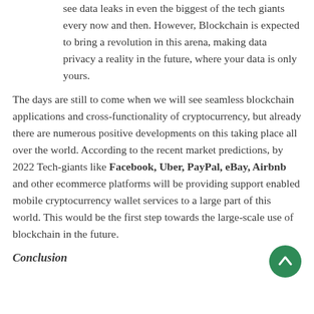see data leaks in even the biggest of the tech giants every now and then. However, Blockchain is expected to bring a revolution in this arena, making data privacy a reality in the future, where your data is only yours.
The days are still to come when we will see seamless blockchain applications and cross-functionality of cryptocurrency, but already there are numerous positive developments on this taking place all over the world. According to the recent market predictions, by 2022 Tech-giants like Facebook, Uber, PayPal, eBay, Airbnb and other ecommerce platforms will be providing support enabled mobile cryptocurrency wallet services to a large part of this world. This would be the first step towards the large-scale use of blockchain in the future.
Conclusion